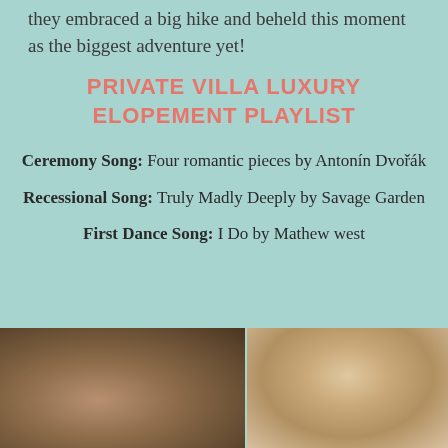they embraced a big hike and beheld this moment as the biggest adventure yet!
PRIVATE VILLA LUXURY ELOPEMENT PLAYLIST
Ceremony Song: Four romantic pieces by Antonín Dvořák
Recessional Song: Truly Madly Deeply by Savage Garden
First Dance Song: I Do by Mathew west
[Figure (photo): Two photos side by side: left shows a close-up of hands/wrists, right shows a decorative object with beads/pearls]